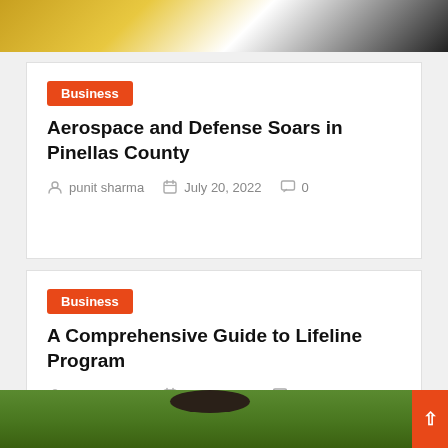[Figure (photo): Top partial image showing yellow, white and black abstract shapes (likely an aerial or racing scene)]
Business — Aerospace and Defense Soars in Pinellas County — punit sharma — July 20, 2022 — 0 comments
Business — A Comprehensive Guide to Lifeline Program — punit sharma — July 2, 2022 — 0 comments
[Figure (photo): Bottom partial image showing a person from behind in a green outdoor setting]